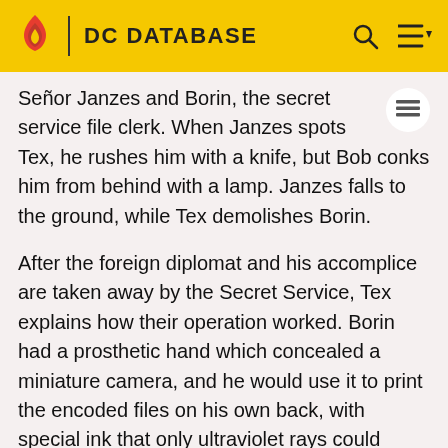DC DATABASE
Señor Janzes and Borin, the secret service file clerk. When Janzes spots Tex, he rushes him with a knife, but Bob conks him from behind with a lamp. Janzes falls to the ground, while Tex demolishes Borin.
After the foreign diplomat and his accomplice are taken away by the Secret Service, Tex explains how their operation worked. Borin had a prosthetic hand which concealed a miniature camera, and he would use it to print the encoded files on his own back, with special ink that only ultraviolet rays could expose. That's how he got them past security's daily strip search. Then he would meet with Janzes, to transcribe the message back onto paper, enabling the diplomat to decode it for his country's government. Thanks to Miss X, Tex and Bob were able to